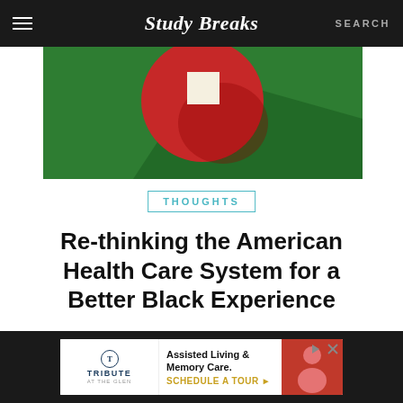Study Breaks — SEARCH
[Figure (illustration): Green background with large red circle and white square, stylized medical/health care graphic with shadow]
THOUGHTS
Re-thinking the American Health Care System for a Better Black Experience
[Figure (other): Advertisement for Tribute at the Glen: Assisted Living & Memory Care. Schedule a Tour.]